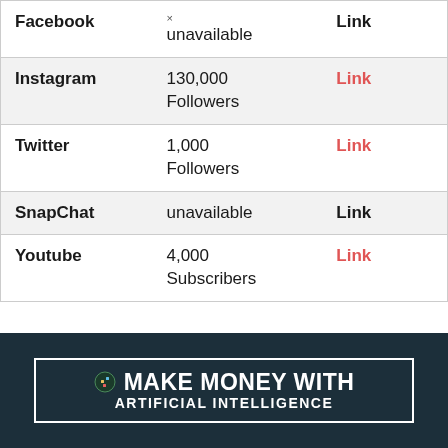| Platform | Stats | Link |
| --- | --- | --- |
| Facebook | × unavailable | Link |
| Instagram | 130,000 Followers | Link |
| Twitter | 1,000 Followers | Link |
| SnapChat | unavailable | Link |
| Youtube | 4,000 Subscribers | Link |
[Figure (infographic): Dark banner advertisement with white border and icon reading 'MAKE MONEY WITH ARTIFICIAL INTELLIGENCE']